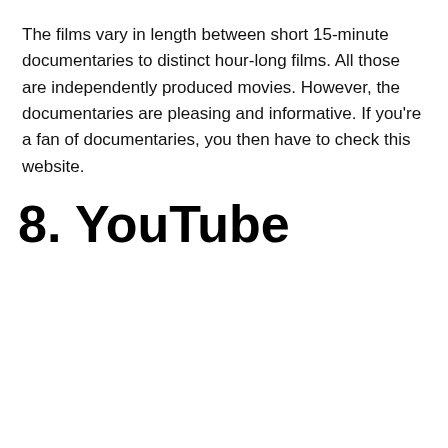The films vary in length between short 15-minute documentaries to distinct hour-long films. All those are independently produced movies. However, the documentaries are pleasing and informative. If you're a fan of documentaries, you then have to check this website.
8. YouTube